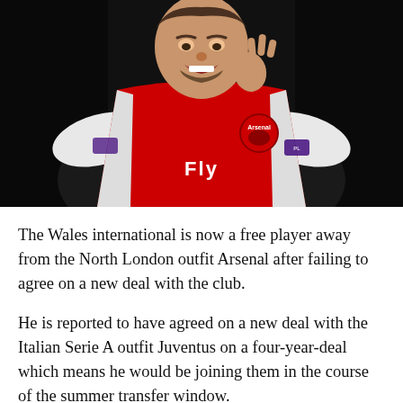[Figure (photo): A footballer wearing an Arsenal red and white Puma jersey with the Fly Emirates sponsor and Arsenal badge, making a hand gesture. The background is dark.]
The Wales international is now a free player away from the North London outfit Arsenal after failing to agree on a new deal with the club.
He is reported to have agreed on a new deal with the Italian Serie A outfit Juventus on a four-year-deal which means he would be joining them in the course of the summer transfer window.
It is noted that the former Cardiff City midfielder spent